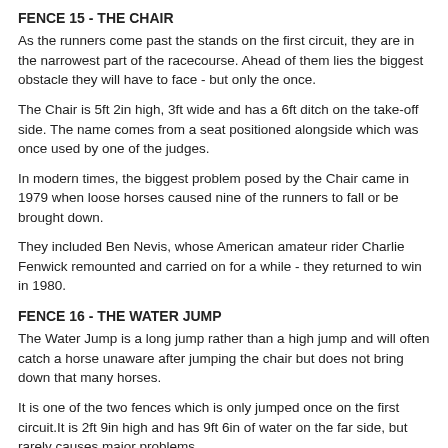FENCE 15 - THE CHAIR
As the runners come past the stands on the first circuit, they are in the narrowest part of the racecourse. Ahead of them lies the biggest obstacle they will have to face - but only the once.
The Chair is 5ft 2in high, 3ft wide and has a 6ft ditch on the take-off side. The name comes from a seat positioned alongside which was once used by one of the judges.
In modern times, the biggest problem posed by the Chair came in 1979 when loose horses caused nine of the runners to fall or be brought down.
They included Ben Nevis, whose American amateur rider Charlie Fenwick remounted and carried on for a while - they returned to win in 1980.
FENCE 16 - THE WATER JUMP
The Water Jump is a long jump rather than a high jump and will often catch a horse unaware after jumping the chair but does not bring down that many horses.
It is one of the two fences which is only jumped once on the first circuit.It is 2ft 9in high and has 9ft 6in of water on the far side, but rarely causes major problems.
Until 1845, it was a stone wall. In the first race in 1839 a stone wall stood here and although it was only in place for a few years